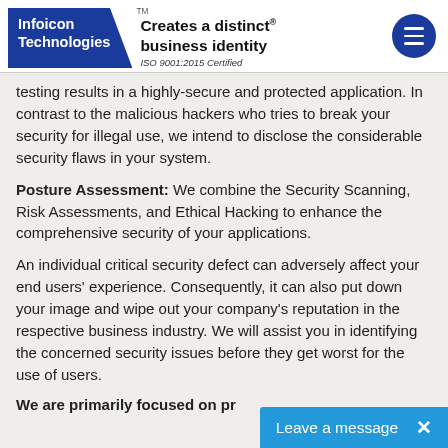Infoicon Technologies TM — Creates a distinct ® business identity — ISO 9001:2015 Certified
testing results in a highly-secure and protected application. In contrast to the malicious hackers who tries to break your security for illegal use, we intend to disclose the considerable security flaws in your system.
Posture Assessment: We combine the Security Scanning, Risk Assessments, and Ethical Hacking to enhance the comprehensive security of your applications.
An individual critical security defect can adversely affect your end users' experience. Consequently, it can also put down your image and wipe out your company's reputation in the respective business industry. We will assist you in identifying the concerned security issues before they get worst for the use of users.
We are primarily focused on pr…